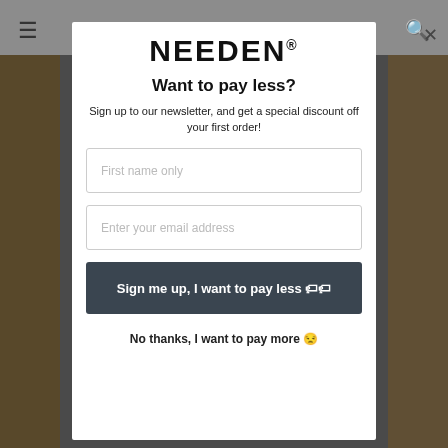[Figure (screenshot): Website background with navigation bar (hamburger menu left, search icon right), partially visible product images on left and right sides, and a dark overlay, behind a modal popup.]
NEEDEN®
Want to pay less?
Sign up to our newsletter, and get a special discount off your first order!
First name only
Enter your email address
Sign me up, I want to pay less 🏷️
No thanks, I want to pay more 😒